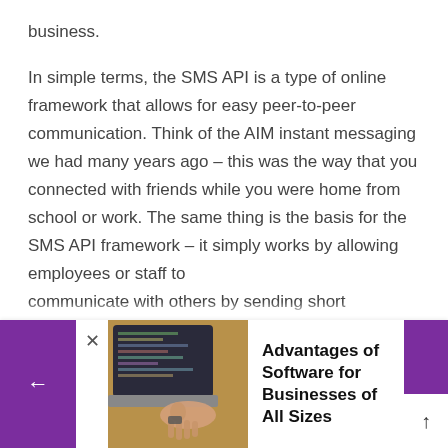business.
In simple terms, the SMS API is a type of online framework that allows for easy peer-to-peer communication. Think of the AIM instant messaging we had many years ago – this was the way that you connected with friends while you were home from school or work. The same thing is the basis for the SMS API framework – it simply works by allowing employees or staff to communicate with others by sending short
[Figure (screenshot): A promotional banner at the bottom of the page showing a person typing on a laptop, with the title 'Advantages of Software for Businesses of All Sizes', purple navigation arrows on left and right sides, and an X close button.]